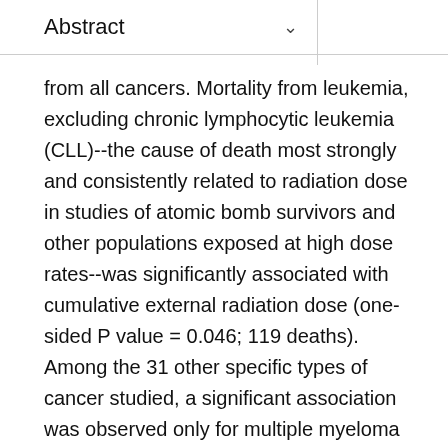Abstract
from all cancers. Mortality from leukemia, excluding chronic lymphocytic leukemia (CLL)--the cause of death most strongly and consistently related to radiation dose in studies of atomic bomb survivors and other populations exposed at high dose rates--was significantly associated with cumulative external radiation dose (one-sided P value = 0.046; 119 deaths). Among the 31 other specific types of cancer studied, a significant association was observed only for multiple myeloma (one-sided P value = 0.037; 44 deaths), and this was attributable primarily to the associations reported previously between this disease and radiation dose in the Hanford (U.S.) and Sellafield (UK) cohorts. The excess relative risk (ERR) estimates for all cancers excluding leukemia, and leukemia excluding CLL, the two main groupings of causes of death for which risk estimates have been derived from studies of atomic bomb survivors, were